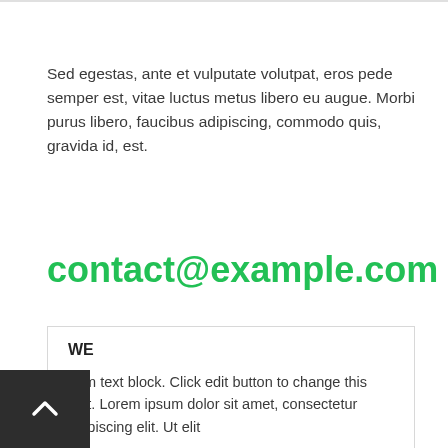Sed egestas, ante et vulputate volutpat, eros pede semper est, vitae luctus metus libero eu augue. Morbi purus libero, faucibus adipiscing, commodo quis, gravida id, est.
contact@example.com
WE
I am text block. Click edit button to change this text. Lorem ipsum dolor sit amet, consectetur adipiscing elit. Ut elit